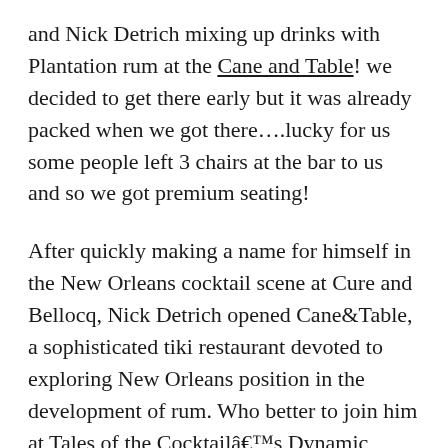and Nick Detrich mixing up drinks with Plantation rum at the Cane and Table! we decided to get there early but it was already packed when we got there....lucky for us some people left 3 chairs at the bar to us and so we got premium seating!
After quickly making a name for himself in the New Orleans cocktail scene at Cure and Bellocq, Nick Detrich opened Cane&Table, a sophisticated tiki restaurant devoted to exploring New Orleans position in the development of rum. Who better to join him at Tales of the Cocktailâ€™s Dynamic Duos than Jeff â€œBeachbumâ€� Berry, author of the definitive works on tropical drinks and culture?
It turned out to become a fantastic evening with ALL the rum and tiki people plus many others with good cocktails made with Plantation rum, which had a strong presence